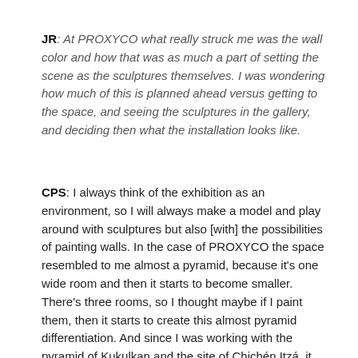JR: At PROXYCO what really struck me was the wall color and how that was as much a part of setting the scene as the sculptures themselves. I was wondering how much of this is planned ahead versus getting to the space, and seeing the sculptures in the gallery, and deciding then what the installation looks like.
CPS: I always think of the exhibition as an environment, so I will always make a model and play around with sculptures but also [with] the possibilities of painting walls. In the case of PROXYCO the space resembled to me almost a pyramid, because it's one wide room and then it starts to become smaller. There's three rooms, so I thought maybe if I paint them, then it starts to create this almost pyramid differentiation. And since I was working with the pyramid of Kukulkan and the site of Chichén Itzá, it was very appropriate. And also I found that there was access to a basement. So I thought, how great that I can then guide the viewer down to an underground space. There are some ideas, and then, when I see the space, the ideas start to grow